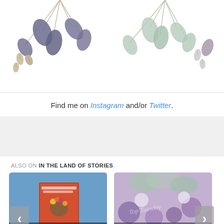[Figure (illustration): Decorative botanical illustration showing hanging leaves and branches — dark purple/green leaves on the left side and light green/teal eucalyptus-style leaves on the right side, on a white background.]
Find me on Instagram and/or Twitter.
[Figure (other): Light gray advertisement banner placeholder.]
ALSO ON IN THE LAND OF STORIES
[Figure (photo): Book cover of 'Felix Ever After by Kacen Callender' with orange/red cover showing a person with flowers. Card shows '2 years ago • 1 comment' and title 'Review: Felix Ever After by Kacen'.]
[Figure (photo): Floral photo background with purple and white flowers. Card shows '2 years ago • 3 comments' and title 'Top Ten Tuesday: Books on My'.]
‹
›